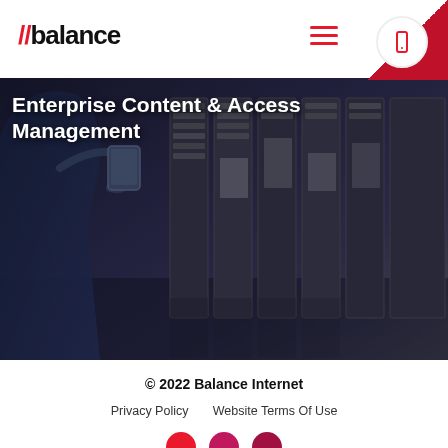//balance
Enterprise Content & Access Management
[Figure (photo): Hero image showing a person in a suit holding a tablet, with server racks in the background. Dark blue/grey toned image.]
[Figure (illustration): Purple to pink to red gradient decorative section with wave shapes]
© 2022 Balance Internet
Privacy Policy   Website Terms Of Use
[Figure (illustration): Social media icon circles (Facebook, Instagram, LinkedIn) in red/pink tones at the bottom]